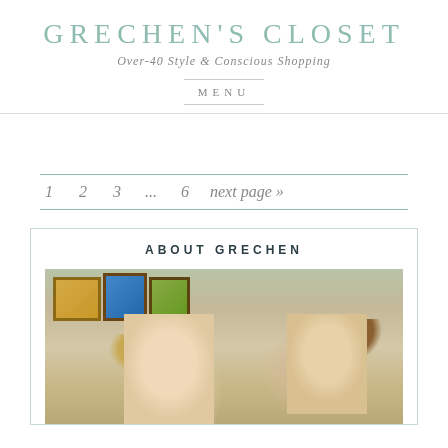GRECHEN'S CLOSET
Over-40 Style & Conscious Shopping
MENU
1  2  3  ...  6  next page »
ABOUT GRECHEN
[Figure (photo): Photo of a blonde woman with a toddler child, colorful framed paintings on wall in background]